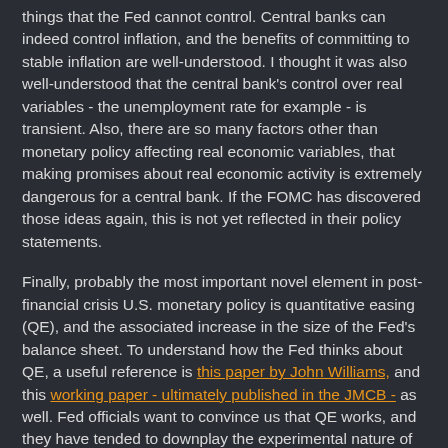things that the Fed cannot control. Central banks can indeed control inflation, and the benefits of committing to stable inflation are well-understood. I thought it was also well-understood that the central bank's control over real variables - the unemployment rate for example - is transient. Also, there are so many factors other than monetary policy affecting real economic variables, that making promises about real economic activity is extremely dangerous for a central bank. If the FOMC has discovered those ideas again, this is not yet reflected in their policy statements.
Finally, probably the most important novel element in post-financial crisis U.S. monetary policy is quantitative easing (QE), and the associated increase in the size of the Fed's balance sheet. To understand how the Fed thinks about QE, a useful reference is this paper by John Williams, and this working paper - ultimately published in the JMCB - as well. Fed officials want to convince us that QE works, and they have tended to downplay the experimental nature of the QE programs. Bernanke has typically argued that QE works just like conventional monetary policy. Other than the fact that QE has its effects by reducing long bond yields rather than